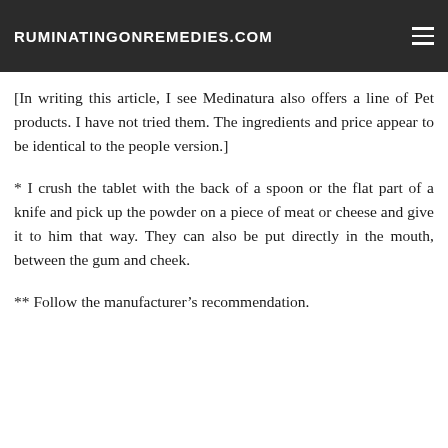RUMINATINGONREMEDIES.COM
[In writing this article, I see Medinatura also offers a line of Pet products. I have not tried them. The ingredients and price appear to be identical to the people version.]
* I crush the tablet with the back of a spoon or the flat part of a knife and pick up the powder on a piece of meat or cheese and give it to him that way. They can also be put directly in the mouth, between the gum and cheek.
** Follow the manufacturer's recommendation.